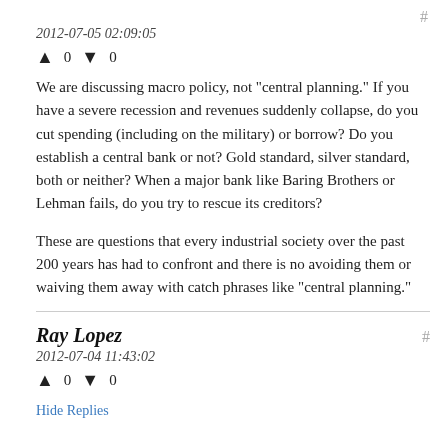2012-07-05 02:09:05
↑ 0 ↓ 0
We are discussing macro policy, not "central planning." If you have a severe recession and revenues suddenly collapse, do you cut spending (including on the military) or borrow? Do you establish a central bank or not? Gold standard, silver standard, both or neither? When a major bank like Baring Brothers or Lehman fails, do you try to rescue its creditors?
These are questions that every industrial society over the past 200 years has had to confront and there is no avoiding them or waiving them away with catch phrases like "central planning."
Ray Lopez
2012-07-04 11:43:02
↑ 0 ↓ 0
Hide Replies